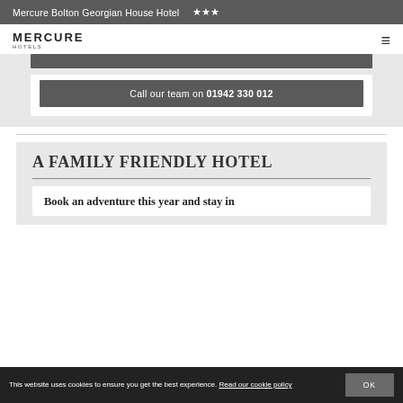Mercure Bolton Georgian House Hotel ★★★
[Figure (logo): Mercure Hotels logo with hamburger menu icon on right]
Call our team on 01942 330 012
A FAMILY FRIENDLY HOTEL
Book an adventure this year and stay in
This website uses cookies to ensure you get the best experience. Read our cookie policy   OK